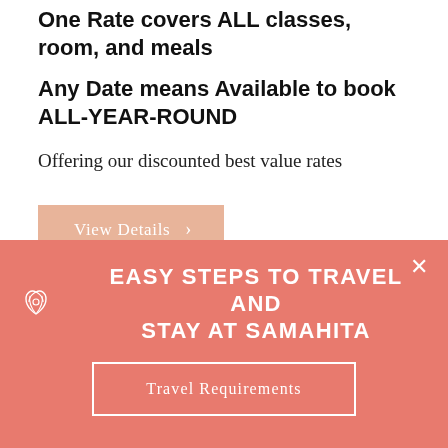One Rate covers ALL classes, room, and meals
Any Date means Available to book ALL-YEAR-ROUND
Offering our discounted best value rates
View Details >
EASY STEPS TO TRAVEL AND STAY AT SAMAHITA
Travel Requirements